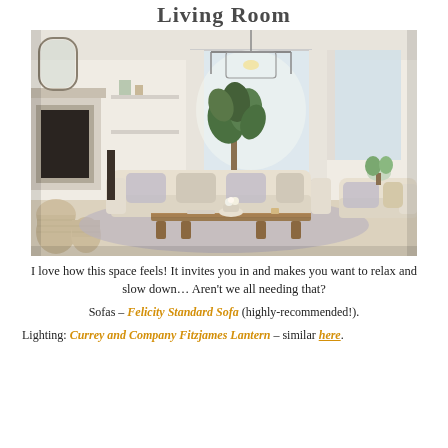Living Room
[Figure (photo): Bright, airy living room with cream sofas, a wooden coffee table, a fiddle leaf fig plant, a stone fireplace, decorative baskets, and a lantern-style pendant light fixture hanging from the ceiling.]
I love how this space feels! It invites you in and makes you want to relax and slow down… Aren't we all needing that?
Sofas – Felicity Standard Sofa (highly-recommended!).
Lighting: Currey and Company Fitzjames Lantern – similar here.